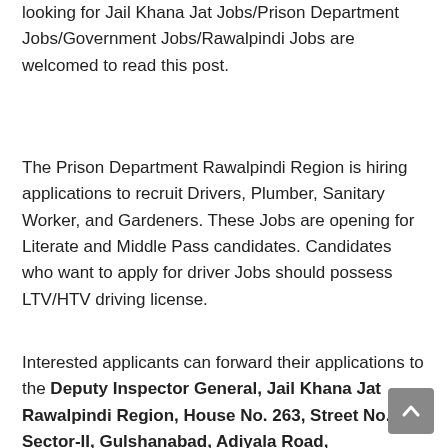looking for Jail Khana Jat Jobs/Prison Department Jobs/Government Jobs/Rawalpindi Jobs are welcomed to read this post.
The Prison Department Rawalpindi Region is hiring applications to recruit Drivers, Plumber, Sanitary Worker, and Gardeners. These Jobs are opening for Literate and Middle Pass candidates. Candidates who want to apply for driver Jobs should possess LTV/HTV driving license.
Interested applicants can forward their applications to the Deputy Inspector General, Jail Khana Jat Rawalpindi Region, House No. 263, Street No. 55, Sector-II, Gulshanabad, Adiyala Road, Rawalpindi. Candidates can forward their applications before 21 June